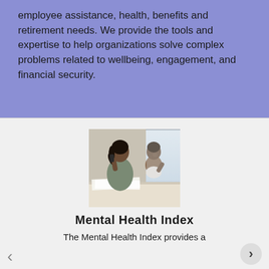employee assistance, health, benefits and retirement needs. We provide the tools and expertise to help organizations solve complex problems related to wellbeing, engagement, and financial security.
[Figure (photo): A woman talking on a phone while sitting at a desk, with a young child beside her.]
Mental Health Index
The Mental Health Index provides a